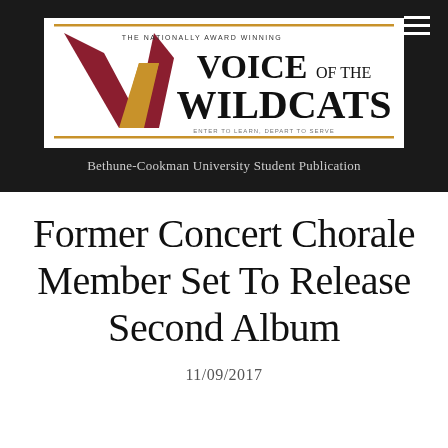[Figure (logo): Voice of the Wildcats logo — Bethune-Cookman University student newspaper masthead with maroon/gold W emblem and serif text]
Bethune-Cookman University Student Publication
Former Concert Chorale Member Set To Release Second Album
11/09/2017